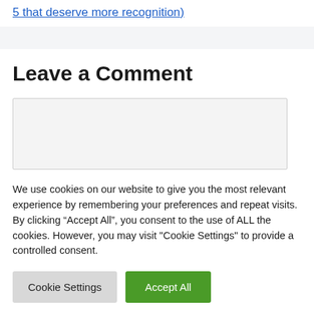5 that deserve more recognition)
Leave a Comment
We use cookies on our website to give you the most relevant experience by remembering your preferences and repeat visits. By clicking “Accept All”, you consent to the use of ALL the cookies. However, you may visit "Cookie Settings" to provide a controlled consent.
Cookie Settings
Accept All